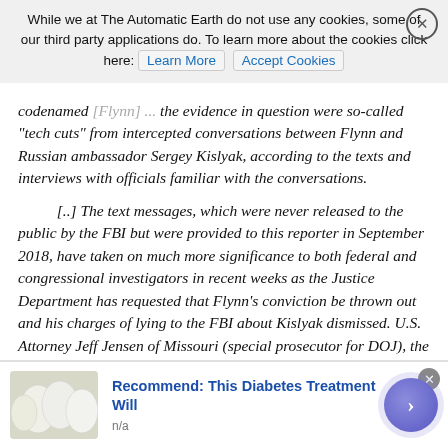While we at The Automatic Earth do not use any cookies, some of our third party applications do. To learn more about the cookies click here: Learn More | Accept Cookies
codenamed [Flynn] ... the evidence in question were so-called "tech cuts" from intercepted conversations between Flynn and Russian ambassador Sergey Kislyak, according to the texts and interviews with officials familiar with the conversations.
[..] The text messages, which were never released to the public by the FBI but were provided to this reporter in September 2018, have taken on much more significance to both federal and congressional investigators in recent weeks as the Justice Department has requested that Flynn's conviction be thrown out and his charges of lying to the FBI about Kislyak dismissed. U.S. Attorney Jeff Jensen of Missouri (special prosecutor for DOJ), the FBI inspection division, three Senate committees and House Republicans are all investigating the handling of Flynn's case and whether any crimes were committed or political influence exerted.
[Figure (other): Advertisement banner: egg-like white objects photo on left, text 'Recommend: This Diabetes Treatment Will' in blue, 'n/a' subtitle, purple circular arrow button on right]